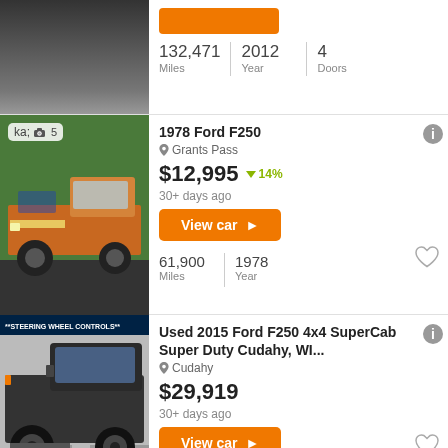[Figure (photo): Partial top listing: car photo cropped, showing only bottom of vehicle image]
132,471 Miles | 2012 Year | 4 Doors
[Figure (photo): 1978 Ford F250 orange/yellow pickup truck, outdoor parking lot]
1978 Ford F250
Grants Pass
$12,995 14%
30+ days ago
View car >
61,900 Miles | 1978 Year
[Figure (photo): 2015 Ford F250 4x4 SuperCab dark colored truck in dealership, steering wheel controls banner]
Used 2015 Ford F250 4x4 SuperCab Super Duty Cudahy, WI...
Cudahy
$29,919
30+ days ago
View car >
2015 Year
[Figure (photo): Partial bottom listing: 2011 Ford F-250, white vehicle partially visible]
2011 Ford F-250
Flowerfield